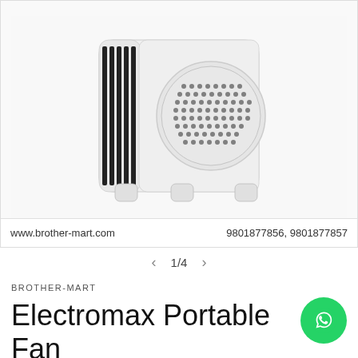[Figure (photo): White Electromax portable fan heater product photo on white background, showing ventilation grilles and feet]
www.brother-mart.com
9801877856, 9801877857
1/4
BROTHER-MART
Electromax Portable Fan Heater with 2 Heat setti and Cooling, Smart room